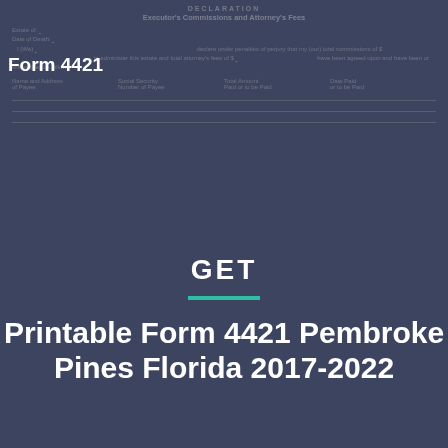DECLARATION
Executor's Commissions and Attorney's Fees
Form 4421
GET
Printable Form 4421 Pembroke Pines Florida 2017-2022
[Figure (other): Faded background of IRS Form 4421 Declaration - Executor's Commissions and Attorney's Fees showing form fields, signature lines, and legal text]
Get Form